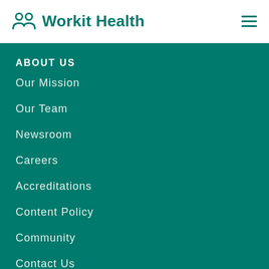Workit Health
ABOUT US
Our Mission
Our Team
Newsroom
Careers
Accreditations
Content Policy
Community
Contact Us
CLINICAL CARE
Opioids